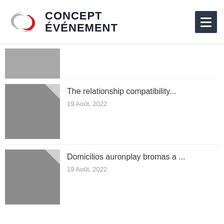CONCEPT ÉVÉNEMENT
[Figure (other): Partial grey thumbnail image clipped at top of content area]
The relationship compatibility...
19 Août, 2022
Domicilios auronplay bromas a ...
19 Août, 2022